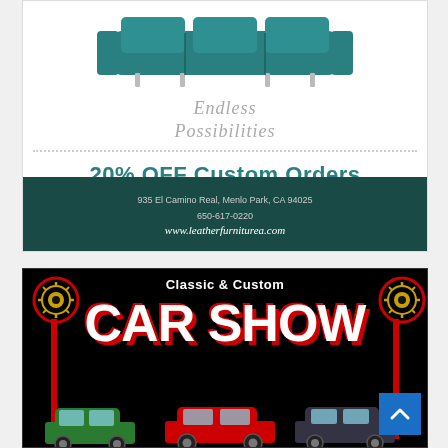[Figure (advertisement): Furniture store advertisement with teal sofa image, cursive text 'Endless Possibilities', '20% OFF Custom Orders', address 935 El Camino Real, Menlo Park, CA 94025, phone 650-617-0220, website www.leatherfurniturea.com]
[Figure (advertisement): Classic & Custom Car Show advertisement with black background, red and white large text 'CAR SHOW', rotary club logos on left and right, classic car silhouettes at bottom]